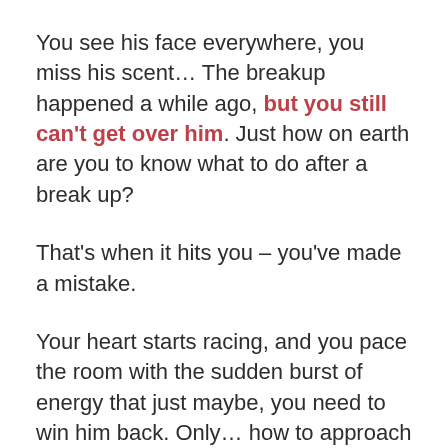You see his face everywhere, you miss his scent… The breakup happened a while ago, but you still can't get over him. Just how on earth are you to know what to do after a break up?
That's when it hits you – you've made a mistake.
Your heart starts racing, and you pace the room with the sudden burst of energy that just maybe, you need to win him back. Only… how to approach the situation now? Where to start? Well, keep